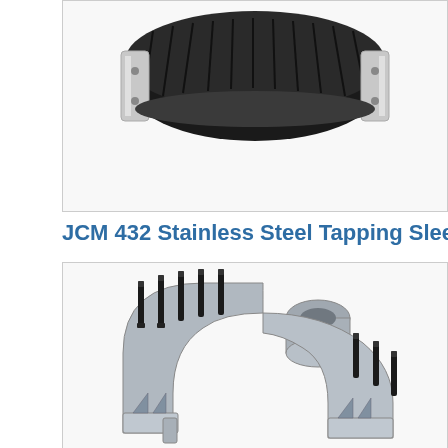[Figure (photo): Photo of a pipe fitting / tapping sleeve product (partially visible at top), showing a black rubber gasket and stainless steel clamp hardware]
JCM 432 Stainless Steel Tapping Sleeve
[Figure (photo): Photo of JCM 432 Stainless Steel Tapping Sleeve components showing two stainless steel clamp halves with black stud bolts and nuts, and a central boss/outlet fitting]